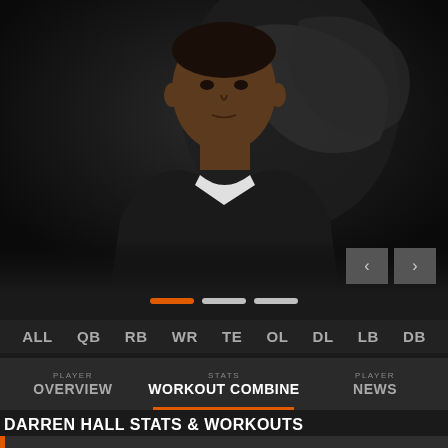[Figure (photo): Headshot photo of NFL draft prospect Darren Hall against a dark background with a team logo watermark]
[Figure (infographic): Slide indicator dots: one orange dot and two white/gray dots]
ALL   QB   RB   WR   TE   OL   DL   LB   DB
PLAYER OVERVIEW   STATS WORKOUT COMBINE   PLAYER NEWS
DARREN HALL STATS & WORKOUTS
DEFENSIVE STATS - NFL DRAFT PROSPECT: DARREN HALL
TACKLES   INTERCEPTIONS